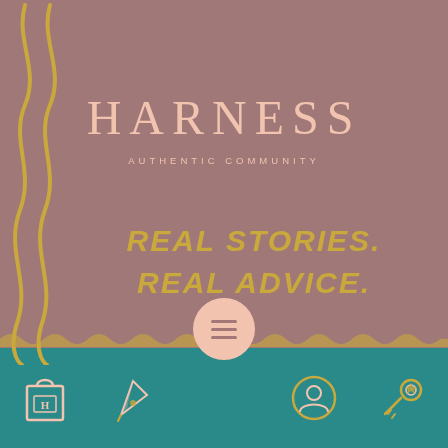[Figure (logo): Harness Authentic Community logo with brand name HARNESS and tagline AUTHENTIC COMMUNITY on a mauve/rose background with gold wavy decorative lines on the left side]
HARNESS
AUTHENTIC COMMUNITY
REAL STORIES. REAL ADVICE.
[Figure (infographic): Bottom teal navigation bar with 5 icons: a shopping bag with H, a pen/quill, a hamburger menu button (centered, raised above bar in pink circle), a person/profile icon, and a key icon]